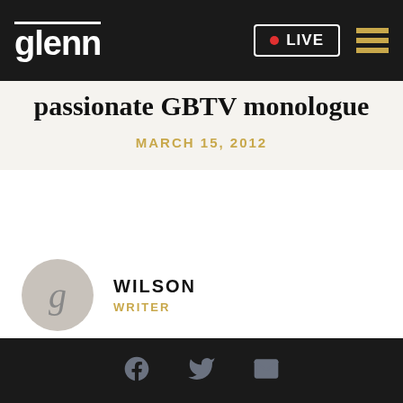glenn | LIVE
passionate GBTV monologue
MARCH 15, 2012
WILSON
WRITER
[Facebook] [Twitter] [Email]